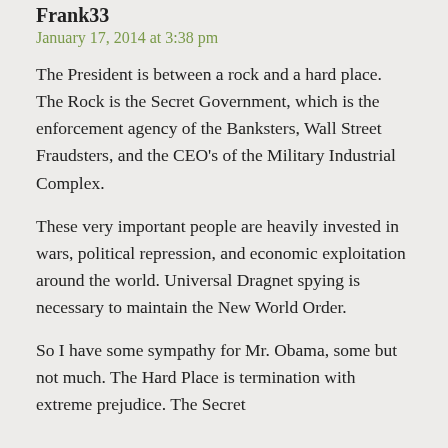Frank33
January 17, 2014 at 3:38 pm
The President is between a rock and a hard place. The Rock is the Secret Government, which is the enforcement agency of the Banksters, Wall Street Fraudsters, and the CEO’s of the Military Industrial Complex.
These very important people are heavily invested in wars, political repression, and economic exploitation around the world. Universal Dragnet spying is necessary to maintain the New World Order.
So I have some sympathy for Mr. Obama, some but not much. The Hard Place is termination with extreme prejudice. The Secret Government...